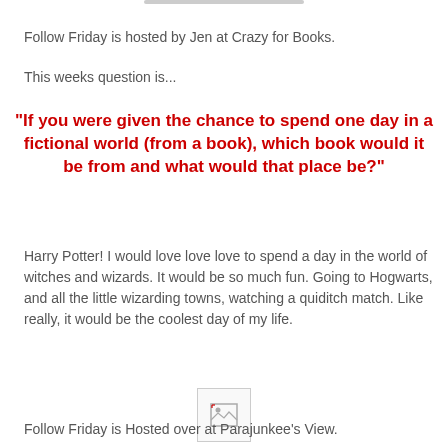Follow Friday is hosted by Jen at Crazy for Books.
This weeks question is...
"If you were given the chance to spend one day in a fictional world (from a book), which book would it be from and what would that place be?"
Harry Potter! I would love love love to spend a day in the world of witches and wizards. It would be so much fun. Going to Hogwarts, and all the little wizarding towns, watching a quiditch match. Like really, it would be the coolest day of my life.
[Figure (other): Broken image placeholder icon]
Follow Friday is Hosted over at Parajunkee's View.